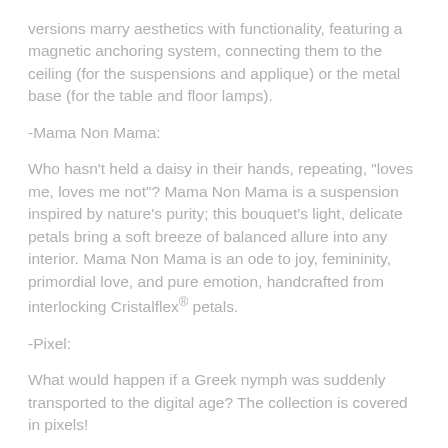versions marry aesthetics with functionality, featuring a magnetic anchoring system, connecting them to the ceiling (for the suspensions and applique) or the metal base (for the table and floor lamps).
-Mama Non Mama:
Who hasn't held a daisy in their hands, repeating, "loves me, loves me not"? Mama Non Mama is a suspension inspired by nature's purity; this bouquet's light, delicate petals bring a soft breeze of balanced allure into any interior. Mama Non Mama is an ode to joy, femininity, primordial love, and pure emotion, handcrafted from interlocking Cristalflex® petals.
-Pixel:
What would happen if a Greek nymph was suddenly transported to the digital age? The collection is covered in pixels!